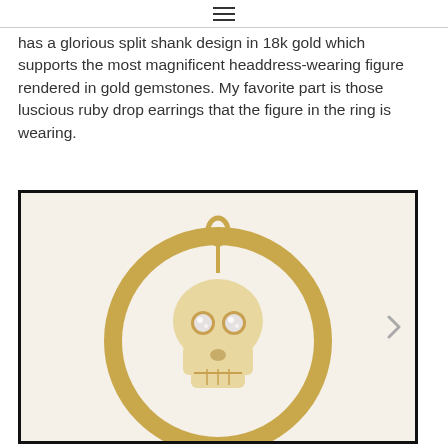≡
has a glorious split shank design in 18k gold which supports the most magnificent headdress-wearing figure rendered in gold gemstones. My favorite part is those luscious ruby drop earrings that the figure in the ring is wearing.
[Figure (photo): A gold circular ring/pendant featuring a carved skull charm with diamond eyes, hanging inside a gold hoop ring against a white background.]